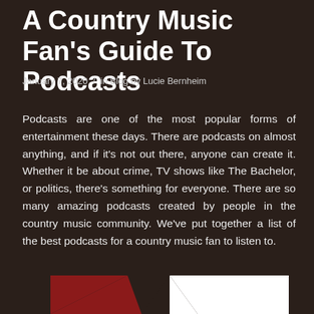A Country Music Fan's Guide To Podcasts
January 7, 2020 / in Blog by Lucie Bernheim
Podcasts are one of the most popular forms of entertainment these days. There are podcasts on almost anything, and if it's not out there, anyone can create it. Whether it be about crime, TV shows like The Bachelor, or politics, there's something for everyone. There are so many amazing podcasts created by people in the country music community. We've put together a list of the best podcasts for a country music fan to listen to.
[Figure (illustration): Partial view of what appears to be a podcast or music-related graphic with dark red and white geometric shapes at the bottom of the page]